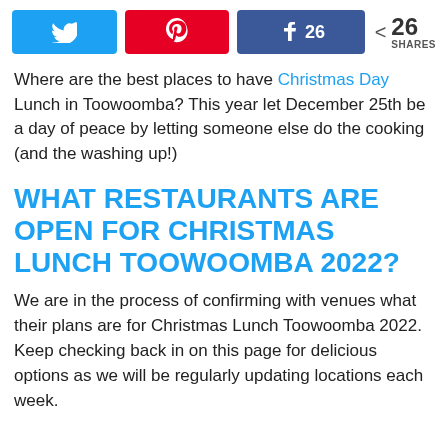[Figure (infographic): Social sharing buttons row: Twitter (blue), Pinterest (red), Facebook (blue with count 26), and share count showing 26 SHARES]
Where are the best places to have Christmas Day Lunch in Toowoomba? This year let December 25th be a day of peace by letting someone else do the cooking (and the washing up!)
WHAT RESTAURANTS ARE OPEN FOR CHRISTMAS LUNCH TOOWOOMBA 2022?
We are in the process of confirming with venues what their plans are for Christmas Lunch Toowoomba 2022. Keep checking back in on this page for delicious options as we will be regularly updating locations each week.